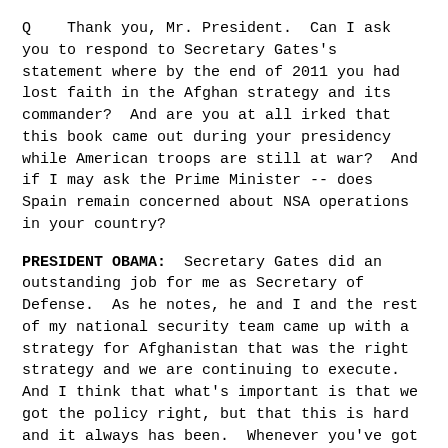Q    Thank you, Mr. President.  Can I ask you to respond to Secretary Gates's statement where by the end of 2011 you had lost faith in the Afghan strategy and its commander?  And are you at all irked that this book came out during your presidency while American troops are still at war?  And if I may ask the Prime Minister -- does Spain remain concerned about NSA operations in your country?
PRESIDENT OBAMA:  Secretary Gates did an outstanding job for me as Secretary of Defense.  As he notes, he and I and the rest of my national security team came up with a strategy for Afghanistan that was the right strategy and we are continuing to execute.  And I think that what's important is that we got the policy right, but that this is hard and it always has been.  Whenever you've got men and women that you are sending into harm's way after having already made enormous investments of blood and treasure in another country, then part of your job as Commander-in-Chief is to sweat the details on it and to recognize that there's enormous sacrifices